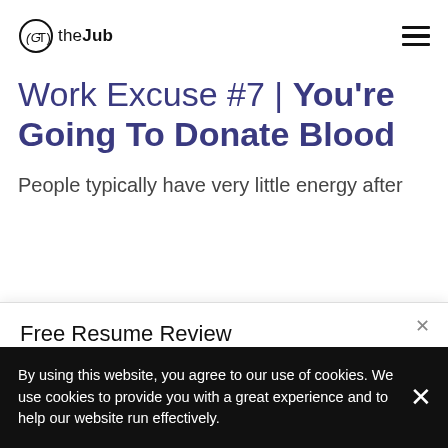(GT) the Jub
Work Excuse #7 | You're Going To Donate Blood
People typically have very little energy after
Free Resume Review
Get a Free, Confidential  Resume Review from Top Experts
If you decide to make any purchases, we may receive a commission at no cost to you. Thank you.
By using this website, you agree to our use of cookies. We use cookies to provide you with a great experience and to help our website run effectively.